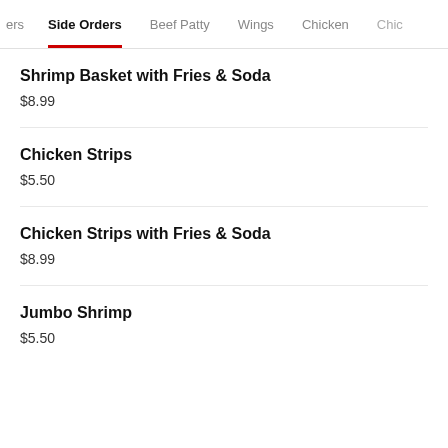ers  Side Orders  Beef Patty  Wings  Chicken  Chic
Shrimp Basket with Fries & Soda
$8.99
Chicken Strips
$5.50
Chicken Strips with Fries & Soda
$8.99
Jumbo Shrimp
$5.50